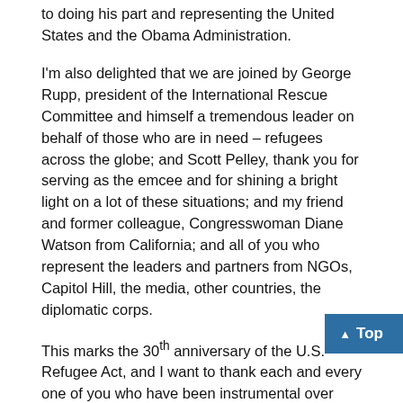to doing his part and representing the United States and the Obama Administration.
I'm also delighted that we are joined by George Rupp, president of the International Rescue Committee and himself a tremendous leader on behalf of those who are in need – refugees across the globe; and Scott Pelley, thank you for serving as the emcee and for shining a bright light on a lot of these situations; and my friend and former colleague, Congresswoman Diane Watson from California; and all of you who represent the leaders and partners from NGOs, Capitol Hill, the media, other countries, the diplomatic corps.
This marks the 30th anniversary of the U.S. Refugee Act, and I want to thank each and every one of you who have been instrumental over these past 30 years, because the plight of the world's refugees is an issue that transcends not just geography and ethnicity, but politics and partisanship as well. It reminds us that we are all vulnerable, no matter how comfortable our lives may appear to be, but we, too, around the world – those of us who enjoy the benefits of the life that